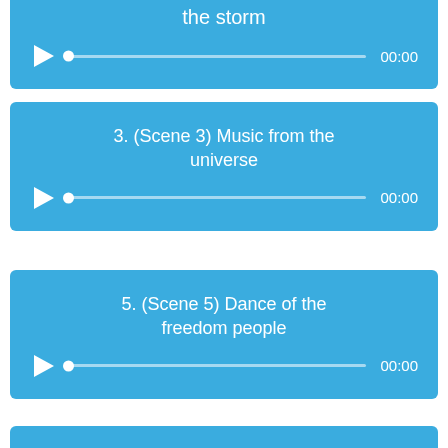[Figure (screenshot): Audio player card (partial, top-cropped) showing title 'the storm' with play button, progress bar, and 00:00 timestamp]
[Figure (screenshot): Audio player card for track '3. (Scene 3) Music from the universe' with play button, progress bar, and 00:00 timestamp]
[Figure (screenshot): Audio player card for track '5. (Scene 5) Dance of the freedom people' with play button, progress bar, and 00:00 timestamp]
[Figure (screenshot): Partial audio player card at bottom, blue background, content cut off]